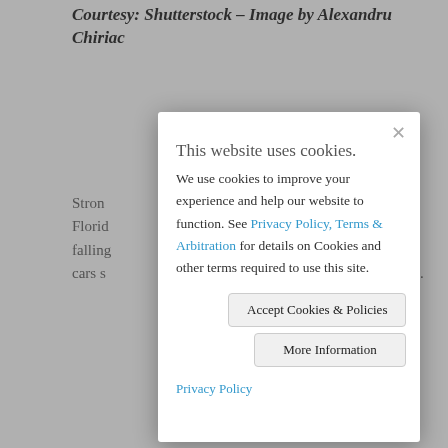Courtesy: Shutterstock – Image by Alexandru Chiriac
Stron… Florid… falling… cars s…ts.
This website uses cookies. We use cookies to improve your experience and help our website to function. See Privacy Policy, Terms & Arbitration for details on Cookies and other terms required to use this site.
Accept Cookies & Policies
More Information
Privacy Policy